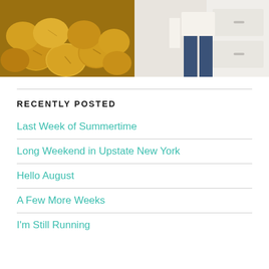[Figure (photo): Two photos side by side: left photo shows golden oat/granola balls on a dark surface, right photo shows a person standing in front of white drawers/furniture wearing jeans]
RECENTLY POSTED
Last Week of Summertime
Long Weekend in Upstate New York
Hello August
A Few More Weeks
I'm Still Running